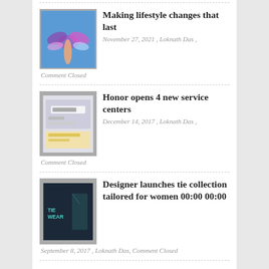[Figure (photo): Thumbnail of hands holding a colorful butterfly with blue sky background]
Making lifestyle changes that last
November 27, 2021 , Loknath Das , Comment Closed
[Figure (photo): Thumbnail of a website screenshot showing a search bar]
Honor opens 4 new service centers
December 14, 2017 , Loknath Das , Comment Closed
[Figure (photo): Thumbnail of a dark fashion/clothing image with text overlay]
Designer launches tie collection tailored for women 00:00 00:00
September 8, 2017 , Loknath Das, Comment Closed
[Figure (photo): Thumbnail of a notebook or printed paper]
Name your price to learn web design from the pros